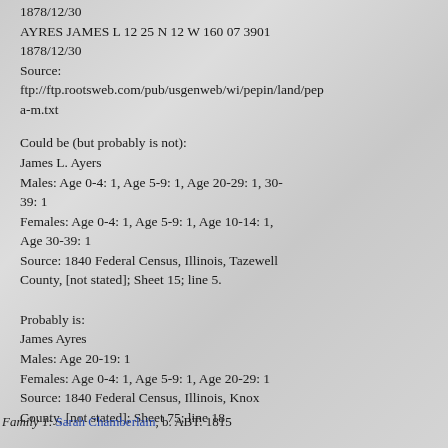1878/12/30
AYRES JAMES L 12 25 N 12 W 160 07 3901
1878/12/30
Source:
ftp://ftp.rootsweb.com/pub/usgenweb/wi/pepin/land/pepa-m.txt
Could be (but probably is not):
James L. Ayers
Males: Age 0-4: 1, Age 5-9: 1, Age 20-29: 1, 30-39: 1
Females: Age 0-4: 1, Age 5-9: 1, Age 10-14: 1, Age 30-39: 1
Source: 1840 Federal Census, Illinois, Tazewell County, [not stated]; Sheet 15; line 5.
Probably is:
James Ayres
Males: Age 20-19: 1
Females: Age 0-4: 1, Age 5-9: 1, Age 20-29: 1
Source: 1840 Federal Census, Illinois, Knox County, [not stated]; Sheet 75; line 18.
Family 1: Sarah Chamberlain, b. ABT. 1815